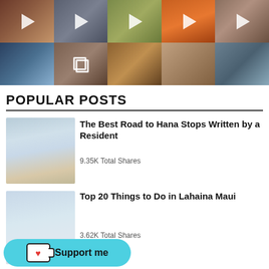[Figure (photo): Instagram grid showing 10 photo/video thumbnails in 2 rows of 5. Top row shows videos with white play button overlays. Second row shows photos with a multi-image icon on cell 2.]
POPULAR POSTS
[Figure (photo): Thumbnail image showing a beach with sandy path through dunes, cloudy sky — for 'The Best Road to Hana Stops Written by a Resident' post]
The Best Road to Hana Stops Written by a Resident
9.35K Total Shares
[Figure (photo): Thumbnail image of Lahaina Maui beach for 'Top 20 Things to Do in Lahaina Maui' post]
Top 20 Things to Do in Lahaina Maui
3.62K Total Shares
[Figure (other): Ko-fi support button: teal rounded button with coffee cup icon and heart, reading 'Support me']